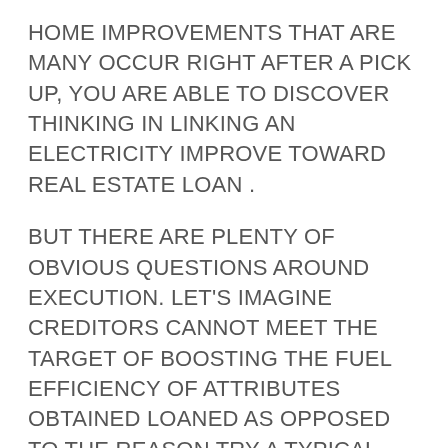HOME IMPROVEMENTS THAT ARE MANY OCCUR RIGHT AFTER A PICK UP, YOU ARE ABLE TO DISCOVER THINKING IN LINKING AN ELECTRICITY IMPROVE TOWARD REAL ESTATE LOAN .
BUT THERE ARE PLENTY OF OBVIOUS QUESTIONS AROUND EXECUTION. LET'S IMAGINE CREDITORS CANNOT MEET THE TARGET OF BOOSTING THE FUEL EFFICIENCY OF ATTRIBUTES OBTAINED LOANED AS OPPOSED TO THE REASON TRY A TYPICAL , OR FUEL ABILITIES OFFICIAL CERTIFICATION, OF PEOPLE AND THAT'S A SUPER TAUT DEADLINE GRANTED THAT NUMEROUS HOUSEHOLDS YOU OUGHT NOT POSSES A SCORE